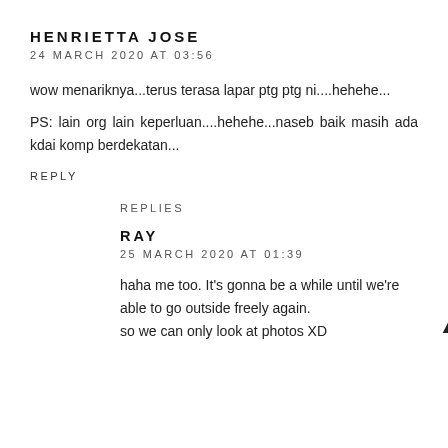HENRIETTA JOSE
24 MARCH 2020 AT 03:56
wow menariknya...terus terasa lapar ptg ptg ni....hehehe...
PS: lain org lain keperluan....hehehe...naseb baik masih ada kdai komp berdekatan...
REPLY
REPLIES
RAY
25 MARCH 2020 AT 01:39
haha me too. It's gonna be a while until we're able to go outside freely again.
so we can only look at photos XD